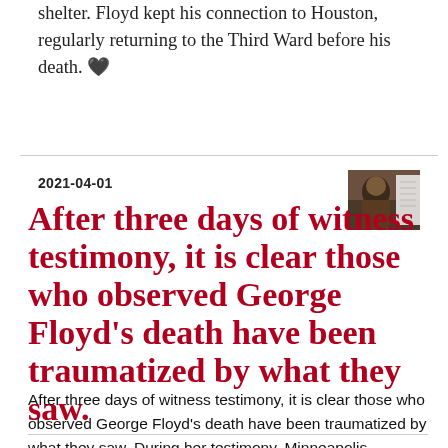shelter. Floyd kept his connection to Houston, regularly returning to the Third Ward before his death. 🖤
2021-04-01
[Figure (photo): Small thumbnail image of a person, appears to be a news article photo]
After three days of witness testimony, it is clear those who observed George Floyd's death have been traumatized by what they saw.
After three days of witness testimony, it is clear those who observed George Floyd's death have been traumatized by what they saw. During her testimony, Minneapolis Firefighter Genevieve Hansen shared,